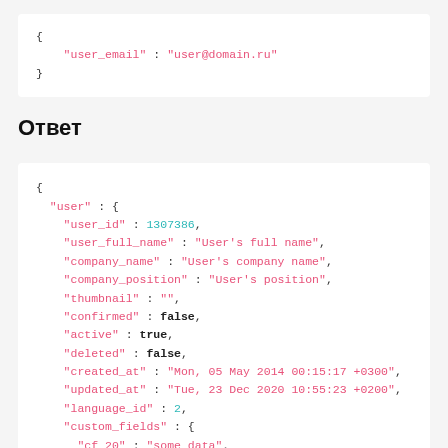{
    "user_email" : "user@domain.ru"
}
Ответ
{
  "user" : {
    "user_id" : 1307386,
    "user_full_name" : "User's full name",
    "company_name" : "User's company name",
    "company_position" : "User's position",
    "thumbnail" : "",
    "confirmed" : false,
    "active" : true,
    "deleted" : false,
    "created_at" : "Mon, 05 May 2014 00:15:17 +0300",
    "updated_at" : "Tue, 23 Dec 2020 10:55:23 +0200",
    "language_id" : 2,
    "custom_fields" : {
      "cf 20" : "some data",